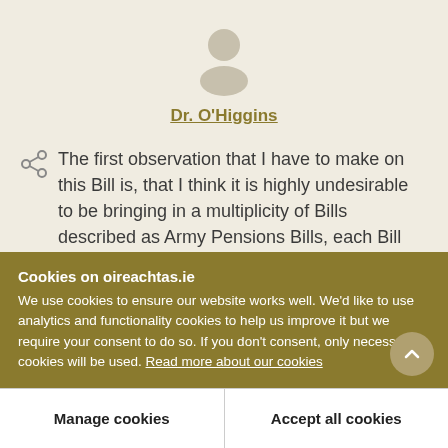[Figure (illustration): Silhouette of a person (avatar placeholder icon) in beige/grey color]
Dr. O'Higgins
The first observation that I have to make on this Bill is, that I think it is highly undesirable to be bringing in a multiplicity of Bills described as Army Pensions Bills, each Bill designed to deal with the
Cookies on oireachtas.ie
We use cookies to ensure our website works well. We'd like to use analytics and functionality cookies to help us improve it but we require your consent to do so. If you don't consent, only necessary cookies will be used. Read more about our cookies
Manage cookies
Accept all cookies